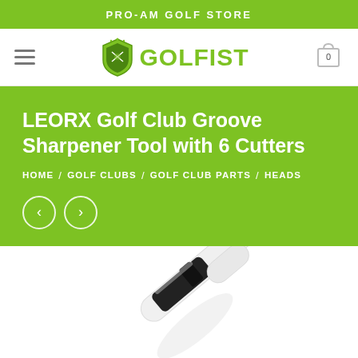PRO-AM GOLF STORE
[Figure (logo): GOLFIST logo with shield emblem and green text, hamburger menu icon on left, shopping cart icon with 0 badge on right]
LEORX Golf Club Groove Sharpener Tool with 6 Cutters
HOME / GOLF CLUBS / GOLF CLUB PARTS / HEADS
[Figure (photo): Close-up photo of a golf club groove sharpener tool, black and white cylindrical pen-like tool, partially visible from below, on white background]